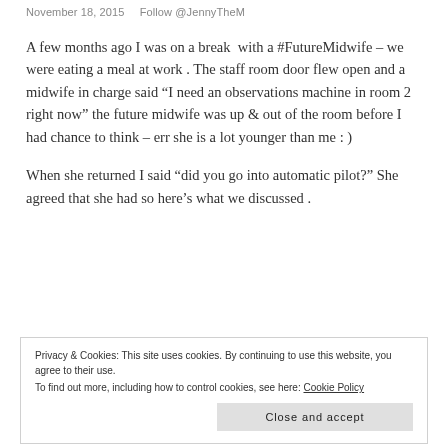November 18, 2015   Follow @JennyTheM
A few months ago I was on a break with a #FutureMidwife – we were eating a meal at work . The staff room door flew open and a midwife in charge said “I need an observations machine in room 2 right now” the future midwife was up & out of the room before I had chance to think – err she is a lot younger than me : )
When she returned I said “did you go into automatic pilot?” She agreed that she had so here’s what we discussed .
Privacy & Cookies: This site uses cookies. By continuing to use this website, you agree to their use.
To find out more, including how to control cookies, see here: Cookie Policy
Close and accept